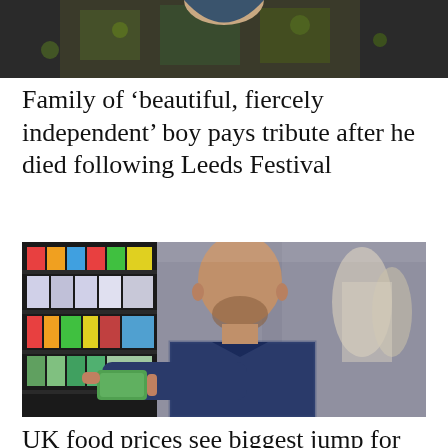[Figure (photo): Top portion of a person wearing a floral/tropical print shirt, cropped at torso/neck, outdoors]
Family of ‘beautiful, fiercely independent’ boy pays tribute after he died following Leeds Festival
[Figure (photo): A bald middle-aged man with a beard, wearing a dark blue checked shirt, reading a label on a green packaged product in a supermarket aisle with colourful shelves of products behind him and blurred people in the background]
UK food prices see biggest jump for 14 years, says retail body